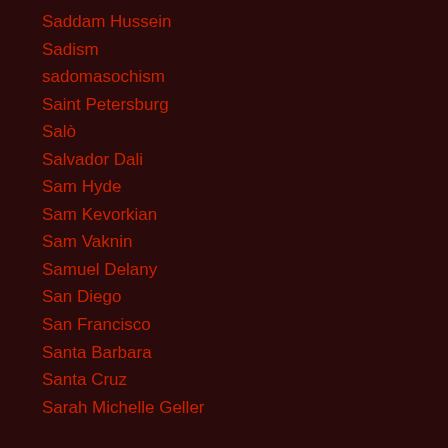Saddam Hussein
Sadism
sadomasochism
Saint Petersburg
Salò
Salvador Dali
Sam Hyde
Sam Kevorkian
Sam Vaknin
Samuel Delany
San Diego
San Francisco
Santa Barbara
Santa Cruz
Sarah Michelle Geller